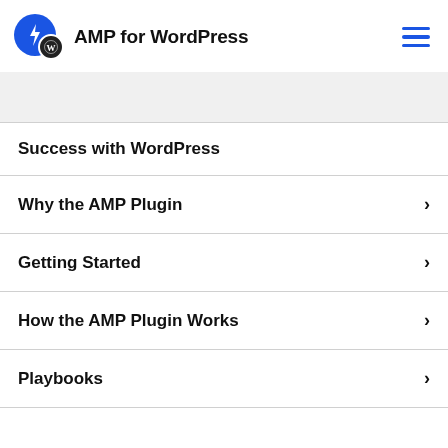AMP for WordPress
Success with WordPress
Why the AMP Plugin
Getting Started
How the AMP Plugin Works
Playbooks